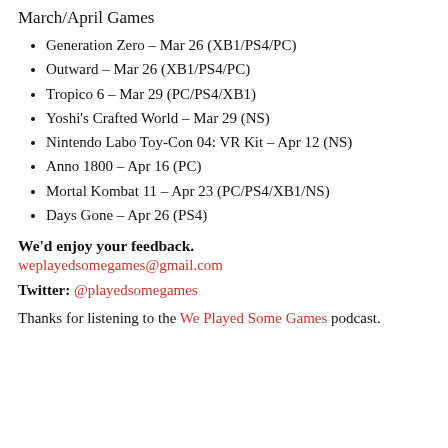March/April Games
Generation Zero – Mar 26 (XB1/PS4/PC)
Outward – Mar 26 (XB1/PS4/PC)
Tropico 6 – Mar 29 (PC/PS4/XB1)
Yoshi's Crafted World – Mar 29 (NS)
Nintendo Labo Toy-Con 04: VR Kit – Apr 12 (NS)
Anno 1800 – Apr 16 (PC)
Mortal Kombat 11 – Apr 23 (PC/PS4/XB1/NS)
Days Gone – Apr 26 (PS4)
We'd enjoy your feedback.
weplayedsomegames@gmail.com
Twitter: @playedsomegames
Thanks for listening to the We Played Some Games podcast.